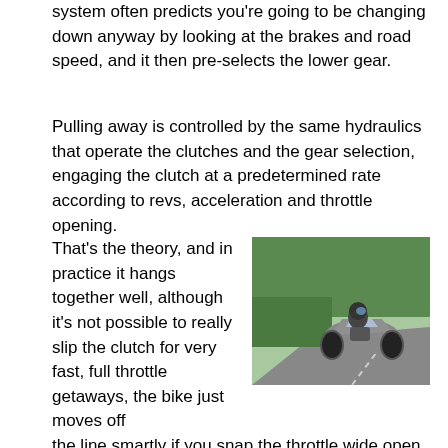system often predicts you're going to be changing down anyway by looking at the brakes and road speed, and it then pre-selects the lower gear.
Pulling away is controlled by the same hydraulics that operate the clutches and the gear selection, engaging the clutch at a predetermined rate according to revs, acceleration and throttle opening.
[Figure (photo): A motorcycle (sport-touring bike) leaning into a bend on a road, with trees/green foliage in the background. Rider in full gear.]
That's the theory, and in practice it hangs together well, although it's not possible to really slip the clutch for very fast, full throttle getaways, the bike just moves off the line smartly if you snap the throttle wide open, which is a bit disappointing. The take up is very smooth though, and the bike will trickle along down to creeping forward speeds with none of the lurching and jerkiness which mar Yamaha's automatic FJR1300.